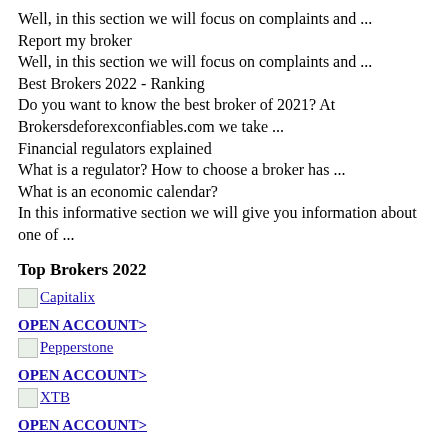Well, in this section we will focus on complaints and ...
Report my broker
Well, in this section we will focus on complaints and ...
Best Brokers 2022 - Ranking
Do you want to know the best broker of 2021? At Brokersdeforexconfiables.com we take ...
Financial regulators explained
What is a regulator? How to choose a broker has ...
What is an economic calendar?
In this informative section we will give you information about one of ...
Top Brokers 2022
[Figure (other): Capitalix broker logo placeholder image]
OPEN ACCOUNT>
[Figure (other): Pepperstone broker logo placeholder image]
OPEN ACCOUNT>
[Figure (other): XTB broker logo placeholder image]
OPEN ACCOUNT>